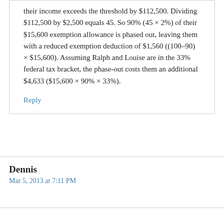their income exceeds the threshold by $112,500. Dividing $112,500 by $2,500 equals 45. So 90% (45 × 2%) of their $15,600 exemption allowance is phased out, leaving them with a reduced exemption deduction of $1,560 ((100–90) × $15,600). Assuming Ralph and Louise are in the 33% federal tax bracket, the phase-out costs them an additional $4,633 ($15,600 × 90% × 33%).
Reply
Dennis
Mar 5, 2013 at 7:11 PM